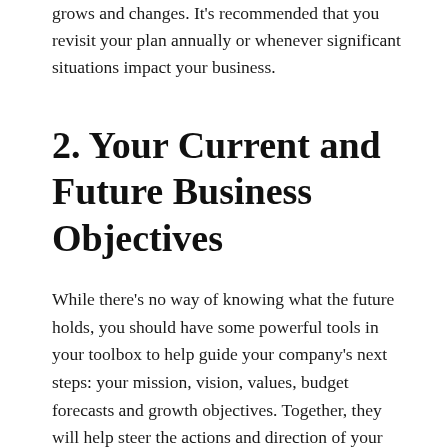grows and changes. It's recommended that you revisit your plan annually or whenever significant situations impact your business.
2. Your Current and Future Business Objectives
While there's no way of knowing what the future holds, you should have some powerful tools in your toolbox to help guide your company's next steps: your mission, vision, values, budget forecasts and growth objectives. Together, they will help steer the actions and direction of your business, and they'll give you insight as to the skill sets your employees will need to get you there. So, if you haven't